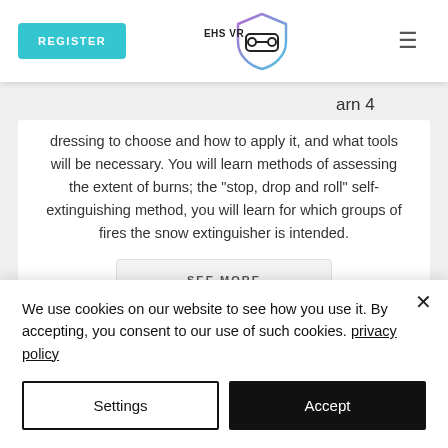[Figure (screenshot): Website navigation bar with REGISTER button, EHS VR logo, and hamburger menu icon]
arn 4
ow
drant,
now to
what
dressing to choose and how to apply it, and what tools will be necessary. You will learn methods of assessing the extent of burns; the "stop, drop and roll" self-extinguishing method, you will learn for which groups of fires the snow extinguisher is intended.
SEE MORE
We use cookies on our website to see how you use it. By accepting, you consent to our use of such cookies. privacy policy
Settings
Accept